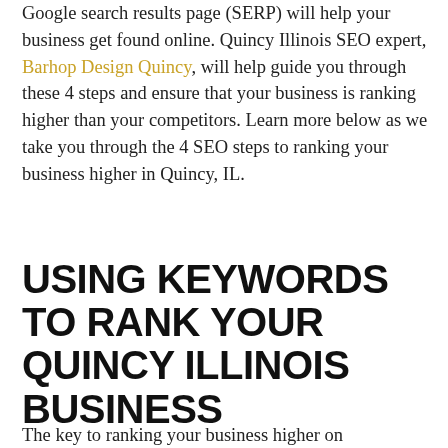Google search results page (SERP) will help your business get found online. Quincy Illinois SEO expert, Barhop Design Quincy, will help guide you through these 4 steps and ensure that your business is ranking higher than your competitors. Learn more below as we take you through the 4 SEO steps to ranking your business higher in Quincy, IL.
USING KEYWORDS TO RANK YOUR QUINCY ILLINOIS BUSINESS
The key to ranking your business higher on